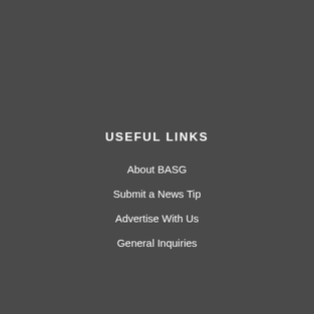USEFUL LINKS
About BASG
Submit a News Tip
Advertise With Us
General Inquiries